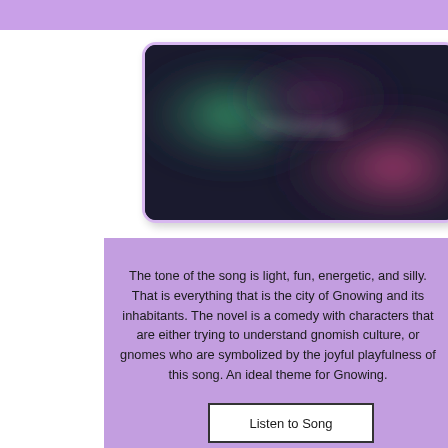[Figure (photo): A blurred dark background image with green and pink/magenta bokeh light spots, with faint white blurred text in the center.]
The tone of the song is light, fun, energetic, and silly. That is everything that is the city of Gnowing and its inhabitants. The novel is a comedy with characters that are either trying to understand gnomish culture, or gnomes who are symbolized by the joyful playfulness of this song. An ideal theme for Gnowing.
Listen to Song